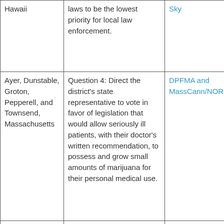| Hawaii | laws to be the lowest priority for local law enforcement. | Sky | Yes |
| Ayer, Dunstable, Groton, Pepperell, and Townsend, Massachusetts | Question 4: Direct the district's state representative to vote in favor of legislation that would allow seriously ill patients, with their doctor's written recommendation, to possess and grow small amounts of marijuana for their personal medical use. | DPFMA and MassCann/NORML | Yes |
|  |  |  |  |